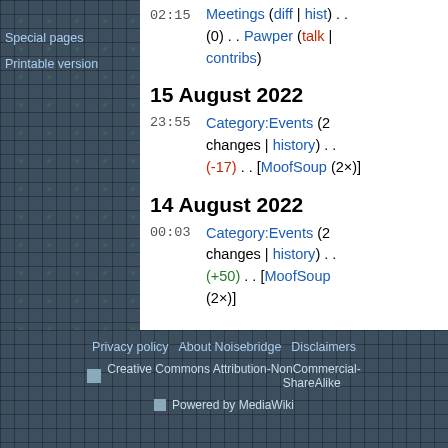Special pages
Printable version
02:15  Meetings (diff | hist) . . (0) . . Pawper (talk | contribs)
15 August 2022
23:55  Category:Events (2 changes | history) . . (-17) . . [MoofSoup (2×)]
14 August 2022
00:03  Category:Events (2 changes | history) . . (+50) . . [MoofSoup (2×)]
Privacy policy   About Noisebridge   Disclaimers   Creative Commons Attribution-NonCommercial-ShareAlike   Powered by MediaWiki